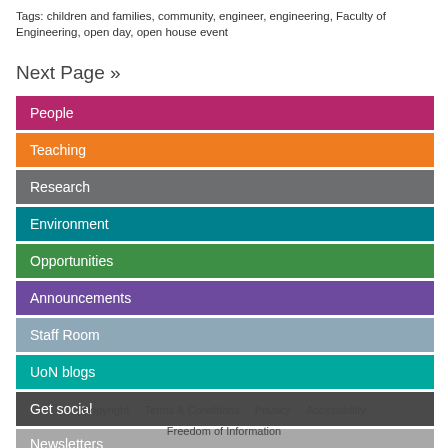Tags: children and families, community, engineer, engineering, Faculty of Engineering, open day, open house event
Next Page »
People
Teaching
Research
Environment
Opportunities
Announcements
Staff Room
UoN blogs
Get social
Newsletters
Copyright   Terms & Conditions   Privacy   Accessibility   Freedom of Information